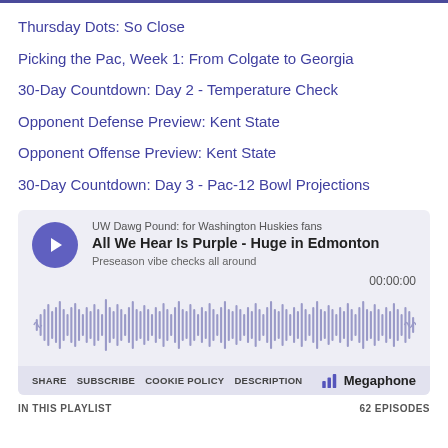Thursday Dots: So Close
Picking the Pac, Week 1: From Colgate to Georgia
30-Day Countdown: Day 2 - Temperature Check
Opponent Defense Preview: Kent State
Opponent Offense Preview: Kent State
30-Day Countdown: Day 3 - Pac-12 Bowl Projections
[Figure (other): Podcast player widget for 'All We Hear Is Purple - Huge in Edmonton' from UW Dawg Pound: for Washington Huskies fans. Shows play button, waveform, timestamp 00:00:00, share/subscribe/cookie policy/description controls, and Megaphone branding. Footer shows IN THIS PLAYLIST and 62 EPISODES.]